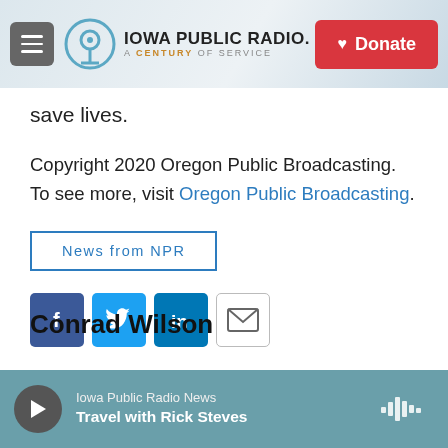Iowa Public Radio. A Century of Service. [Donate button]
save lives.
Copyright 2020 Oregon Public Broadcasting. To see more, visit Oregon Public Broadcasting.
News from NPR
[Figure (infographic): Social media sharing icons: Facebook, Twitter, LinkedIn, Email]
Conrad Wilson
Iowa Public Radio News — Travel with Rick Steves [audio player]